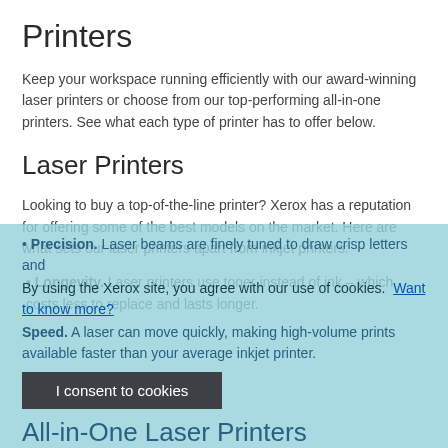Printers
Keep your workspace running efficiently with our award-winning laser printers or choose from our top-performing all-in-one printers. See what each type of printer has to offer below.
Laser Printers
Looking to buy a top-of-the-line printer? Xerox has a reputation for offering some of the best models on the market. Here are what sets our laser printers apart from inkjet printers:
Longevity. Laser printers use toner instead of ink – which costs less to replace and lasts longer.
Precision. Laser beams are finely tuned to draw crisp letters and
By using the Xerox site, you agree with our use of cookies. Want to know more?
Speed. A laser can move quickly, making high-volume prints available faster than your average inkjet printer.
All-in-One Laser Printers